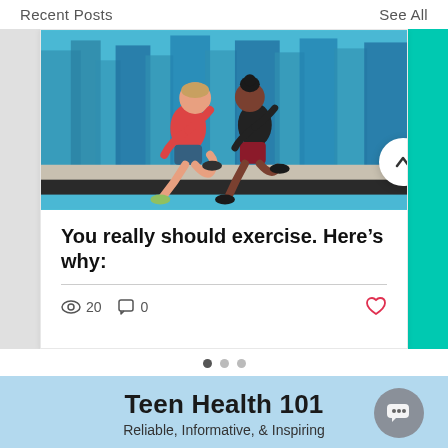Recent Posts   See All
[Figure (illustration): Illustration of two people jogging (a man in red shirt and blue shorts, a woman in black top and red pants) against a blue cityscape background]
You really should exercise. Here's why:
👁 20   💬 0   ♥
[Figure (infographic): Three pagination dots, middle dot slightly larger/darker indicating current slide]
Teen Health 101
Reliable, Informative, & Inspiring